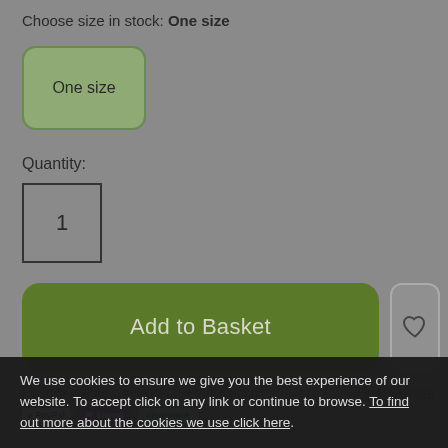Choose size in stock: One size
One size
Quantity:
1
Add to Basket
Finance options available (18+ terms apply)
Find out more
Smidge That Midge Insect Repellent provides a safer alternative to DEET without compromising performance. The
We use cookies to ensure we give you the best experience of our website. To accept click on any link or continue to browse. To find out more about the cookies we use click here.